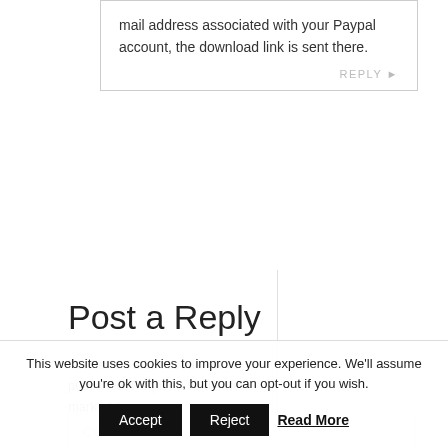mail address associated with your Paypal account, the download link is sent there.
Post a Reply
Your email address will not be published. Required fields are marked *
Comment *
This website uses cookies to improve your experience. We'll assume you're ok with this, but you can opt-out if you wish.
Accept  Reject  Read More